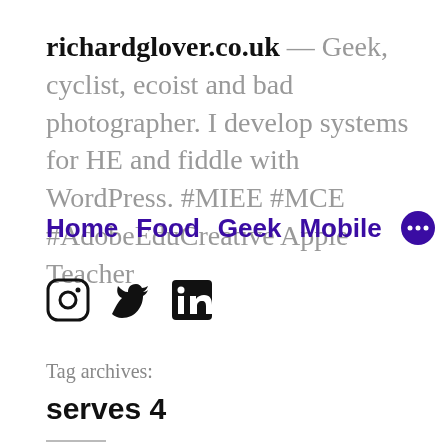richardglover.co.uk — Geek, cyclist, ecoist and bad photographer. I develop systems for HE and fiddle with WordPress. #MIEE #MCE #AdobeEduCreative Apple Teacher
Home   Food   Geek   Mobile   •••
[Figure (other): Social media icons: Instagram, Twitter, LinkedIn]
Tag archives:
serves 4